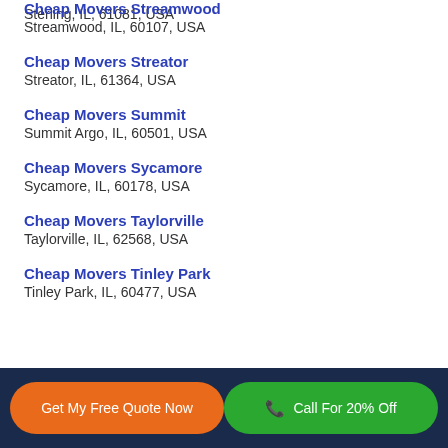Sterling, IL, 61081, USA
Cheap Movers Streamwood
Streamwood, IL, 60107, USA
Cheap Movers Streator
Streator, IL, 61364, USA
Cheap Movers Summit
Summit Argo, IL, 60501, USA
Cheap Movers Sycamore
Sycamore, IL, 60178, USA
Cheap Movers Taylorville
Taylorville, IL, 62568, USA
Cheap Movers Tinley Park
Tinley Park, IL, 60477, USA
Get My Free Quote Now | Call For 20% Off